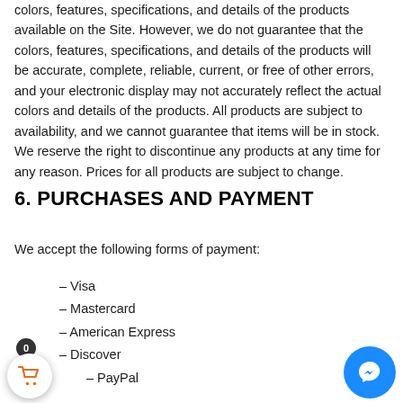colors, features, specifications, and details of the products available on the Site. However, we do not guarantee that the colors, features, specifications, and details of the products will be accurate, complete, reliable, current, or free of other errors, and your electronic display may not accurately reflect the actual colors and details of the products. All products are subject to availability, and we cannot guarantee that items will be in stock. We reserve the right to discontinue any products at any time for any reason. Prices for all products are subject to change.
6. PURCHASES AND PAYMENT
We accept the following forms of payment:
– Visa
– Mastercard
– American Express
– Discover
– PayPal